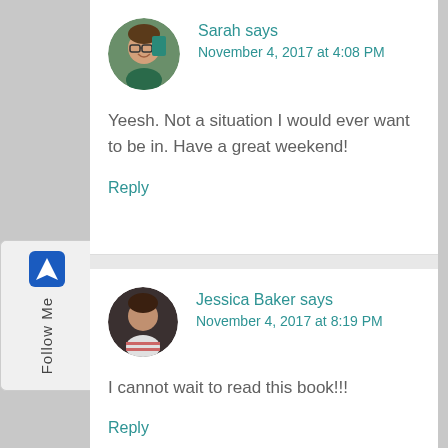[Figure (photo): Profile photo of Sarah, a woman with glasses, smiling, circular avatar]
Sarah says
November 4, 2017 at 4:08 PM
Yeesh. Not a situation I would ever want to be in. Have a great weekend!
Reply
[Figure (photo): Profile photo of Jessica Baker, a woman, circular avatar]
Jessica Baker says
November 4, 2017 at 8:19 PM
I cannot wait to read this book!!!
Reply